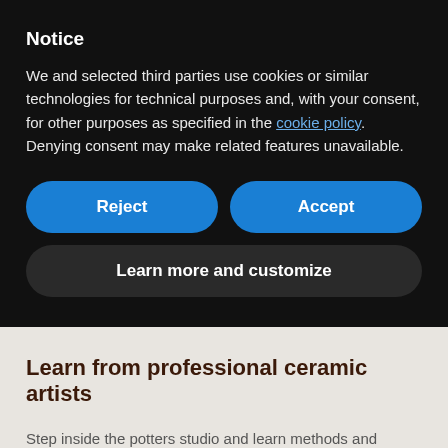Notice
We and selected third parties use cookies or similar technologies for technical purposes and, with your consent, for other purposes as specified in the cookie policy. Denying consent may make related features unavailable.
Reject
Accept
Learn more and customize
Learn from professional ceramic artists
Step inside the potters studio and learn methods and techniques from the top experts in their fields – from all over the world!